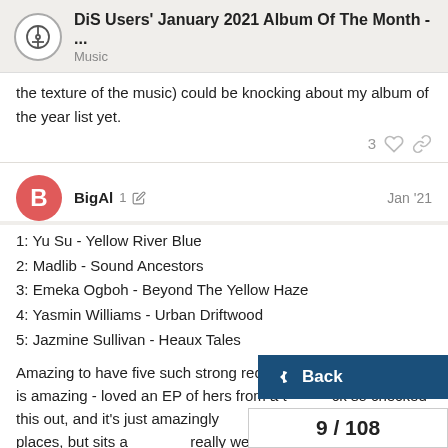DiS Users' January 2021 Album Of The Month - ... Music
the texture of the music) could be knocking about my album of the year list yet.
3 likes
BigAl 1 Jan '21
1: Yu Su - Yellow River Blue
2: Madlib - Sound Ancestors
3: Emeka Ogboh - Beyond The Yellow Haze
4: Yasmin Williams - Urban Driftwood
5: Jazmine Sullivan - Heaux Tales
Amazing to have five such strong records for Ja... Yu Su is amazing - loved an EP of hers from a t... ck so checked this out, and it's just amazingly... dubby, housey ambient in places, but sits a... really well and maintains a really strong so...
Back
9 / 108